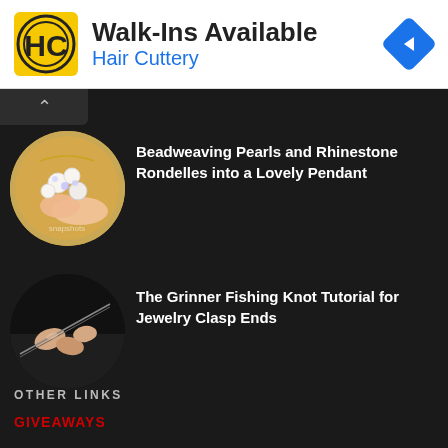[Figure (logo): Hair Cuttery advertisement banner with HC logo, 'Walk-Ins Available' heading, 'Hair Cuttery' subtitle in blue, and a blue navigation arrow icon on the right]
[Figure (photo): Circular thumbnail of pearl and rhinestone flower jewelry pendant being held by fingers]
Beadweaving Pearls and Rhinestone Rondelles into a Lovely Pendant
[Figure (photo): Circular thumbnail of hands tying a fishing knot with wire/thread for jewelry]
The Grinner Fishing Knot Tutorial for Jewelry Clasp Ends
OTHER LINKS
GIVEAWAYS